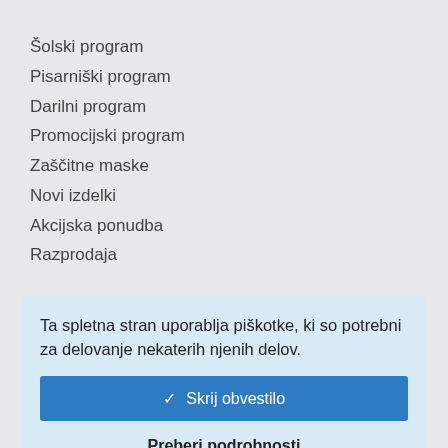Šolski program
Pisarniški program
Darilni program
Promocijski program
Zaščitne maske
Novi izdelki
Akcijska ponudba
Razprodaja
Ta spletna stran uporablja piškotke, ki so potrebni za delovanje nekaterih njenih delov.
✓ Skrij obvestilo
Preberi podrobnosti